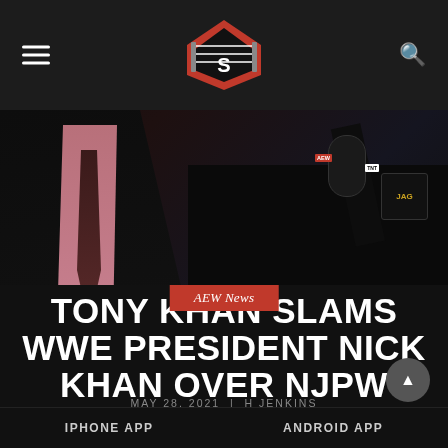Wrestling news site header with logo, hamburger menu, and search icon
[Figure (photo): Two men: left figure in dark suit with pink shirt and dark tie, right figure in black shirt holding AEW/TNT microphone, against dark background]
AEW News
TONY KHAN SLAMS WWE PRESIDENT NICK KHAN OVER NJPW TALKS
MAY 28, 2021 | H JENKINS
IPHONE APP    ANDROID APP